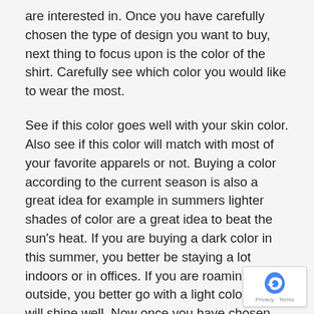are interested in. Once you have carefully chosen the type of design you want to buy, next thing to focus upon is the color of the shirt. Carefully see which color you would like to wear the most.
See if this color goes well with your skin color. Also see if this color will match with most of your favorite apparels or not. Buying a color according to the current season is also a great idea for example in summers lighter shades of color are a great idea to beat the sun's heat. If you are buying a dark color in this summer, you better be staying a lot indoors or in offices. If you are roaming outside, you better go with a light color which will shine well. Now once you have chosen the color, move to the next step of buying your plus size shirt.
Yes, the next step is to select the size. Select the size that will fit you perfectly at this moment. Once you are done, simply click add to cart on the website you are